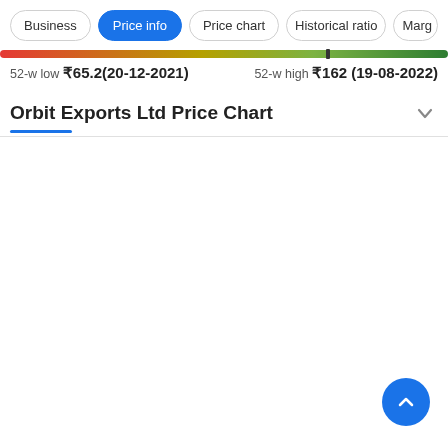Business | Price info | Price chart | Historical ratio | Marg
[Figure (infographic): 52-week price range bar from red (low) to green (high) with a vertical marker near the high end]
52-w low ₹65.2(20-12-2021)   52-w high ₹162 (19-08-2022)
Orbit Exports Ltd Price Chart